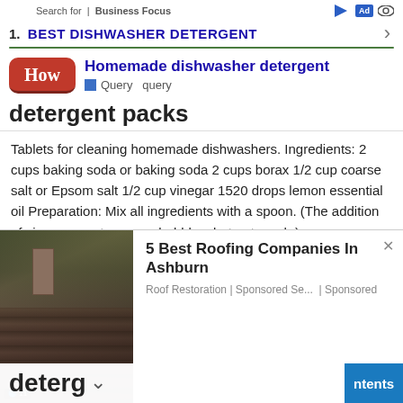Search for | Business Focus
1.  BEST DISHWASHER DETERGENT
[Figure (logo): How logo - red rounded rectangle with white bold text 'How']
Homemade dishwasher detergent
Query  query
detergent packs
Tablets for cleaning homemade dishwashers. Ingredients: 2 cups baking soda or baking soda 2 cups borax 1/2 cup coarse salt or Epsom salt 1/2 cup vinegar 1520 drops lemon essential oil Preparation: Mix all ingredients with a spoon. (The addition of vinegar creates some bubbles, but not much.).
[Figure (photo): Advertisement showing damaged roof with text: 5 Best Roofing Companies In Ashburn. Roof Restoration | Sponsored Se... | Sponsored]
deterg
ntents